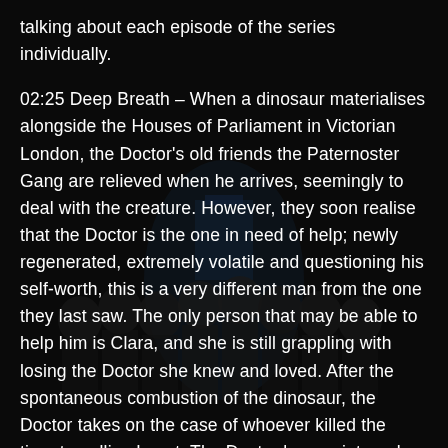talking about each episode of the series individually.
02:25 Deep Breath – When a dinosaur materialises alongside the Houses of Parliament in Victorian London, the Doctor's old friends the Paternoster Gang are relieved when he arrives, seemingly to deal with the creature. However, they soon realise that the Doctor is the one in need of help; newly regenerated, extremely volatile and questioning his self-worth, this is a very different man from the one they last saw. The only person that may be able to help him is Clara, and she is still grappling with losing the Doctor she knew and loved. After the spontaneous combustion of the dinosaur, the Doctor takes on the case of whoever killed the time-travelling beast. The Doctor has an internal battle with himself, pondering where his new face came from. The Doctor and Clara are called to a restaurant, only to find out all the other customers are androids. After discovering the